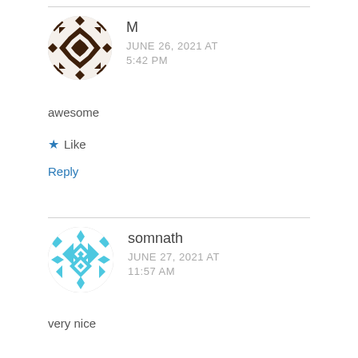[Figure (illustration): Circular avatar with brown/dark geometric quilt pattern for user M]
M
JUNE 26, 2021 AT
5:42 PM
awesome
★ Like
Reply
[Figure (illustration): Circular avatar with light blue geometric snowflake/quilt pattern for user somnath]
somnath
JUNE 27, 2021 AT
11:57 AM
very nice